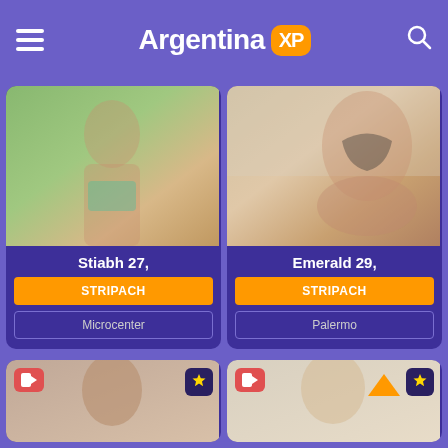Argentina XP
[Figure (photo): Profile photo of Stiabh, woman in teal lingerie outdoors]
Stiabh 27,
STRIPACH
Microcenter
[Figure (photo): Profile photo of Emerald, woman in black lingerie kneeling]
Emerald 29,
STRIPACH
Palermo
[Figure (photo): Partial profile photo bottom left with video and star badges]
[Figure (photo): Partial profile photo bottom right with video and star badges]